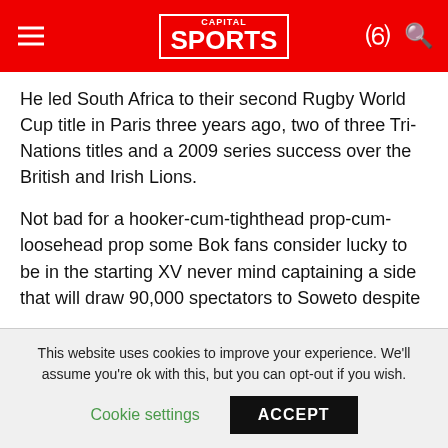Capital Sports
He led South Africa to their second Rugby World Cup title in Paris three years ago, two of three Tri-Nations titles and a 2009 series success over the British and Irish Lions.
Not bad for a hooker-cum-tighthead prop-cum-loosehead prop some Bok fans consider lucky to be in the starting XV never mind captaining a side that will draw 90,000 spectators to Soweto despite three consecutive losses.
The anti-Smit alliance claims he is overweight, off form, and wearing the No 2 jersey only because Coastal Sharks team-mate Bismarck du Plessis is not ready for Test
This website uses cookies to improve your experience. We'll assume you're ok with this, but you can opt-out if you wish.
Cookie settings   ACCEPT